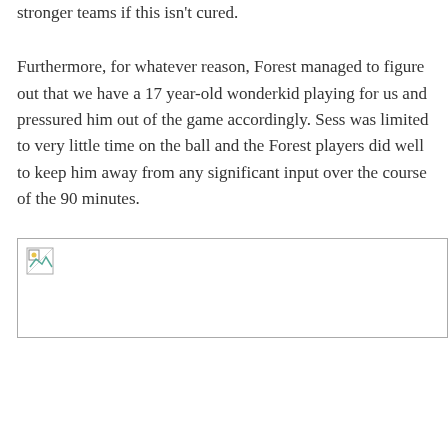stronger teams if this isn't cured. Furthermore, for whatever reason, Forest managed to figure out that we have a 17 year-old wonderkid playing for us and pressured him out of the game accordingly. Sess was limited to very little time on the ball and the Forest players did well to keep him away from any significant input over the course of the 90 minutes.
[Figure (photo): Broken image placeholder (image failed to load)]